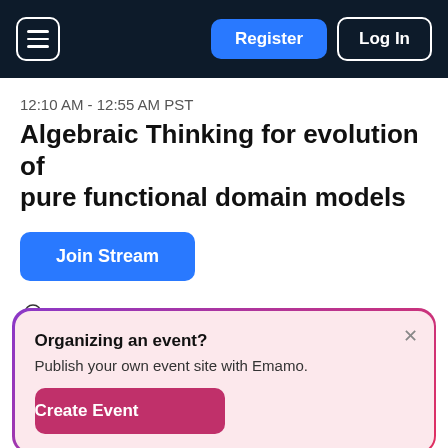Register | Log In
12:10 AM - 12:55 AM PST
Algebraic Thinking for evolution of pure functional domain models
Join Stream
Happiness
ALL LEVELS | DOMAIN MODELLING | ALGEBRAS
Organizing an event? Publish your own event site with Emamo. Create Event